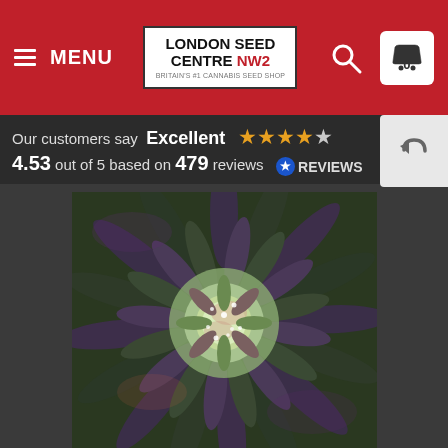MENU | LONDON SEED CENTRE NW2 | 0
Our customers say Excellent ★★★★☆ 4.53 out of 5 based on 479 reviews ⊙REVIEWS
[Figure (photo): Close-up top-down photograph of a cannabis plant flower bud showing dark purple-green leaves radiating outward with white trichomes at the center]